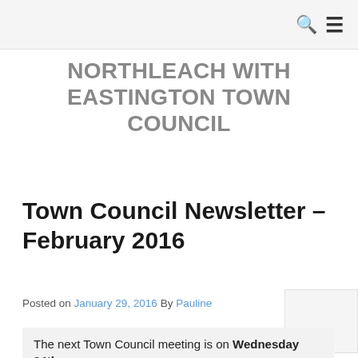NORTHLEACH WITH EASTINGTON TOWN COUNCIL
Town Council Newsletter – February 2016
Posted on January 29, 2016 By Pauline
The next Town Council meeting is on Wednesday 24th